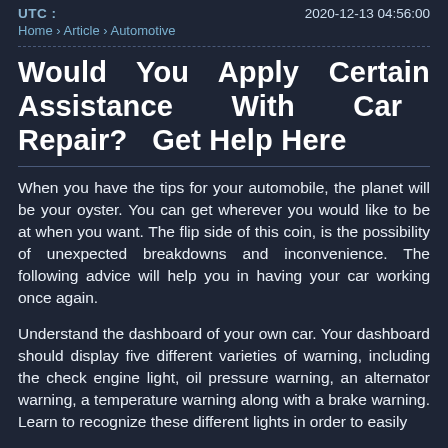UTC :    2020-12-13 04:56:00
Home › Article › Automotive
Would You Apply Certain Assistance With Car Repair? Get Help Here
When you have the tips for your automobile, the planet will be your oyster. You can get wherever you would like to be at when you want. The flip side of this coin, is the possibility of unexpected breakdowns and inconvenience. The following advice will help you in having your car working once again.
Understand the dashboard of your own car. Your dashboard should display five different varieties of warning, including the check engine light, oil pressure warning, an alternator warning, a temperature warning along with a brake warning. Learn to recognize these different lights in order to easily